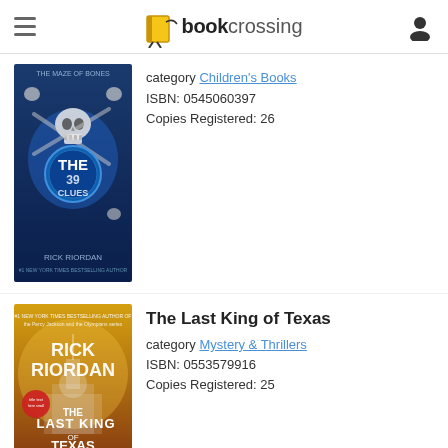bookcrossing
[Figure (illustration): Cover of The 39 Clues book - blue background with skulls and bones, Rick Riordan]
category Children's Books
ISBN: 0545060397
Copies Registered: 26
[Figure (illustration): Cover of The Last King of Texas - yellow/gold background with Capitol building, Rick Riordan]
The Last King of Texas
category Mystery & Thrillers
ISBN: 0553579916
Copies Registered: 25